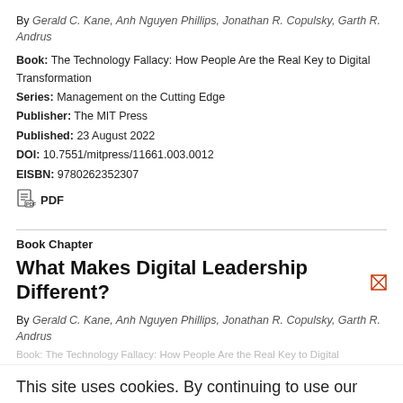By Gerald C. Kane, Anh Nguyen Phillips, Jonathan R. Copulsky, Garth R. Andrus
Book: The Technology Fallacy: How People Are the Real Key to Digital Transformation
Series: Management on the Cutting Edge
Publisher: The MIT Press
Published: 23 August 2022
DOI: 10.7551/mitpress/11661.003.0012
EISBN: 9780262352307
PDF
Book Chapter
What Makes Digital Leadership Different?
By Gerald C. Kane, Anh Nguyen Phillips, Jonathan R. Copulsky, Garth R. Andrus
Book: The Technology Fallacy: How People Are the Real Key to Digital
This site uses cookies. By continuing to use our website, you are agreeing to our privacy policy.
Accept The MIT Press
Published: 23 August 2022